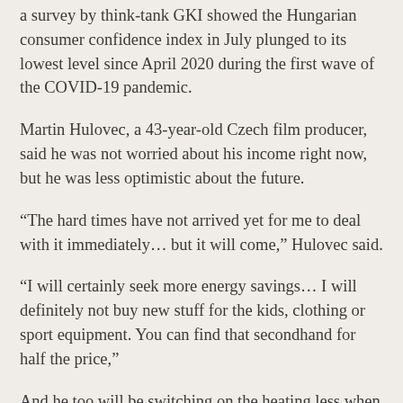a survey by think-tank GKI showed the Hungarian consumer confidence index in July plunged to its lowest level since April 2020 during the first wave of the COVID-19 pandemic.
Martin Hulovec, a 43-year-old Czech film producer, said he was not worried about his income right now, but he was less optimistic about the future.
“The hard times have not arrived yet for me to deal with it immediately… but it will come,” Hulovec said.
“I will certainly seek more energy savings… I will definitely not buy new stuff for the kids, clothing or sport equipment. You can find that secondhand for half the price,”
And he too will be switching on the heating less when